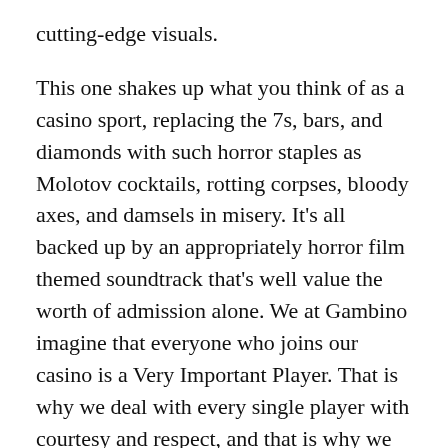cutting-edge visuals.
This one shakes up what you think of as a casino sport, replacing the 7s, bars, and diamonds with such horror staples as Molotov cocktails, rotting corpses, bloody axes, and damsels in misery. It's all backed up by an appropriately horror film themed soundtrack that's well value the worth of admission alone. We at Gambino imagine that everyone who joins our casino is a Very Important Player. That is why we deal with every single player with courtesy and respect, and that is why we invite each single participant to join the Gambino VIP Club. Unfortunately, US gamers won't be able to register on any online casino through Slotozilla website. You have to place the identical symbols collectively on a payline and hold taking part in until you win one thing or start a bonus round.